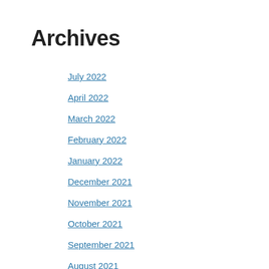Archives
July 2022
April 2022
March 2022
February 2022
January 2022
December 2021
November 2021
October 2021
September 2021
August 2021
July 2021